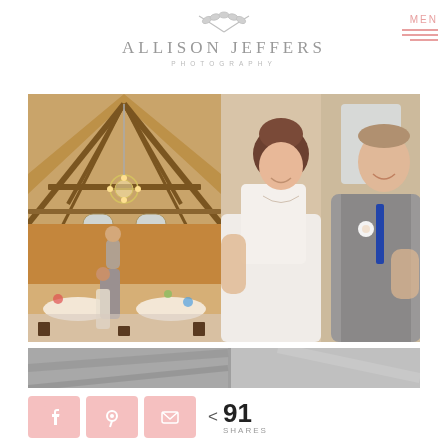[Figure (logo): Allison Jeffers Photography logo with leaf branch illustration above text]
[Figure (photo): Wedding reception in a barn venue with wooden cathedral ceiling, chandelier, and couple dancing in foreground surrounded by seated guests]
[Figure (photo): Close-up portrait of bride and groom dancing, smiling at each other. Bride has updo hairstyle, groom wears grey vest and blue tie with boutonniere]
[Figure (photo): Partial black and white photo strip showing blurred architectural or venue detail]
< 91 SHARES